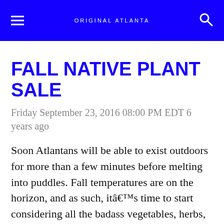ORIGINAL ATLANTA
FALL NATIVE PLANT SALE
Friday September 23, 2016 08:00 PM EDT 6 years ago
Soon Atlantans will be able to exist outdoors for more than a few minutes before melting into puddles. Fall temperatures are on the horizon, and as such, itâ€™s time to start considering all the badass vegetables, herbs, and other plants you might